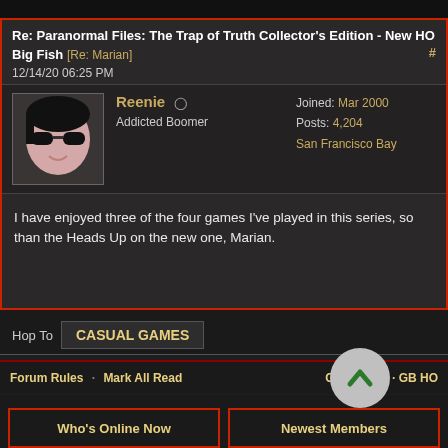Re: Paranormal Files: The Trap of Truth Collector's Edition - New HO
Big Fish [Re: Marian]
12/14/20 06:25 PM
Reenie   Addicted Boomer
Joined: Mar 2000
Posts: 4,204
San Francisco Bay
I have enjoyed three of the four games I've played in this series, so than the Heads Up on the new one, Marian.
Previous Thread
Index
Next Thread
Hop To   CASUAL GAMES
Forum Rules · Mark All Read   Contact Us · GB HO
Who's Online Now
Newest Members